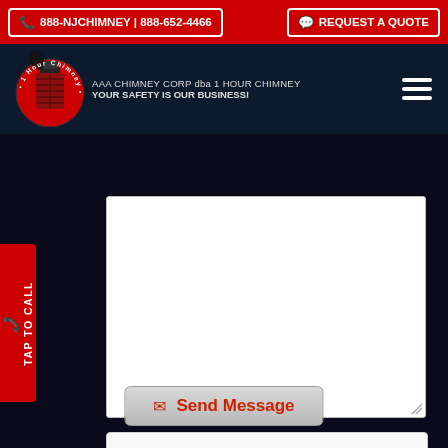📞 888-NJCHIMNEY | 888-652-4466   💬 REQUEST A QUOTE
[Figure (logo): 1 Hour Chimney circular logo with chimney and smoke graphic]
AAA CHIMNEY CORP dba 1 HOUR CHIMNEY
YOUR SAFETY IS OUR BUSINESS!
TAP TO CALL
(empty message textarea)
I'm not a robot  reCAPTCHA  Privacy - Terms
✉ Send Message